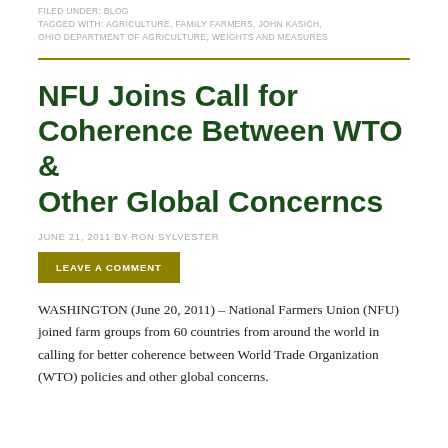FILED UNDER: BLOG
TAGGED WITH: AGRICULTURE, FAMILY FARMERS, JOHN KASICH, OHIO DEPARTMENT OF AGRICULTURE, WEIGHTS AND MEASURES
NFU Joins Call for Coherence Between WTO & Other Global Concerncs
JUNE 21, 2011 BY RON SYLVESTER
LEAVE A COMMENT
WASHINGTON (June 20, 2011) – National Farmers Union (NFU) joined farm groups from 60 countries from around the world in calling for better coherence between World Trade Organization (WTO) policies and other global concerns.
...